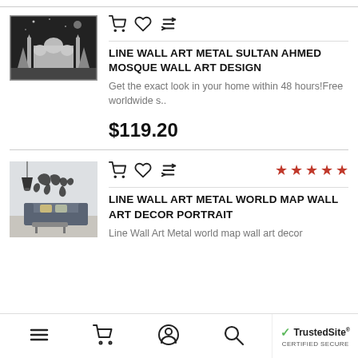[Figure (photo): Product image: Line Wall Art Metal Sultan Ahmed Mosque, black and white illustration on dark background]
LINE WALL ART METAL SULTAN AHMED MOSQUE WALL ART DESIGN
Get the exact look in your home within 48 hours!Free worldwide s..
$119.20
[Figure (photo): Product image: Line Wall Art Metal World Map wall art decor, geometric world map on living room wall]
LINE WALL ART METAL WORLD MAP WALL ART DECOR PORTRAIT
Line Wall Art Metal world map wall art decor
Navigation bar with menu, cart, account, search icons and TrustedSite Certified Secure badge